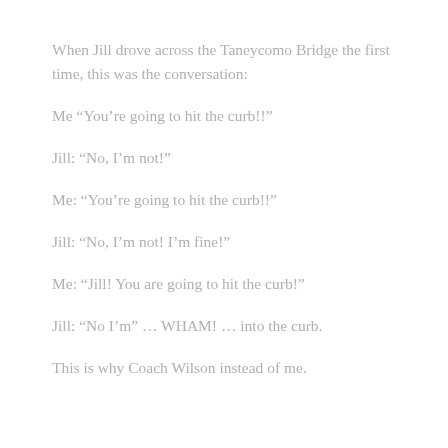When Jill drove across the Taneycomo Bridge the first time, this was the conversation:
Me “You’re going to hit the curb!!”
Jill: “No, I’m not!”
Me: “You’re going to hit the curb!!”
Jill: “No, I’m not! I’m fine!”
Me: “Jill! You are going to hit the curb!”
Jill: “No I’m” … WHAM! … into the curb.
This is why Coach Wilson instead of me.